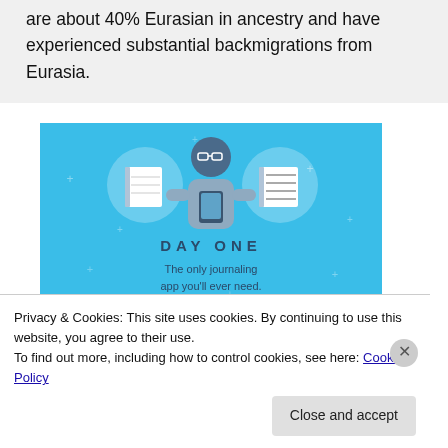are about 40% Eurasian in ancestry and have experienced substantial backmigrations from Eurasia.
[Figure (illustration): Day One journaling app advertisement banner with blue background. Shows illustrated icons: a blank notebook, a person using a phone, and a notebook with lines. Text reads 'DAY ONE' and 'The only journaling app you'll ever need.']
Privacy & Cookies: This site uses cookies. By continuing to use this website, you agree to their use.
To find out more, including how to control cookies, see here: Cookie Policy
Close and accept